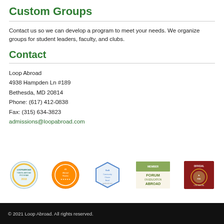Custom Groups
Contact us so we can develop a program to meet your needs. We organize groups for student leaders, faculty, and clubs.
Contact
Loop Abroad
4938 Hampden Ln #189
Bethesda, MD 20814
Phone: (617) 412-0838
Fax: (315) 634-3823
admissions@loopabroad.com
[Figure (logo): Five certification/membership badges: Loop Abroad program badge, top review badge, community choice award, Forum on Education Abroad member badge, and an official continental registration seal.]
© 2021 Loop Abroad. All rights reserved.